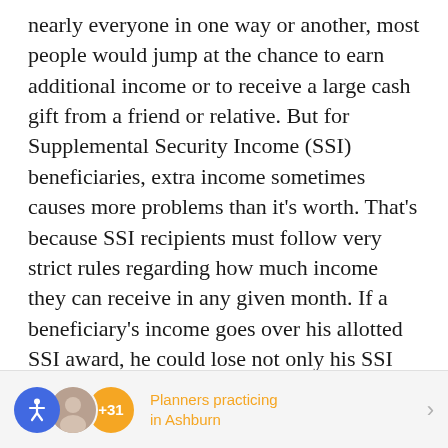nearly everyone in one way or another, most people would jump at the chance to earn additional income or to receive a large cash gift from a friend or relative. But for Supplemental Security Income (SSI) beneficiaries, extra income sometimes causes more problems than it's worth. That's because SSI recipients must follow very strict rules regarding how much income they can receive in any given month. If a beneficiary's income goes over his allotted SSI award, he could lose not only his SSI eligibility, but also the all-important Medicaid assistance that often comes with it.
[Figure (infographic): Footer bar with accessibility icon (blue circle with person figure), a person photo, a gold badge showing +31, and text 'Planners practicing in Ashburn' in gold, with a right arrow chevron.]